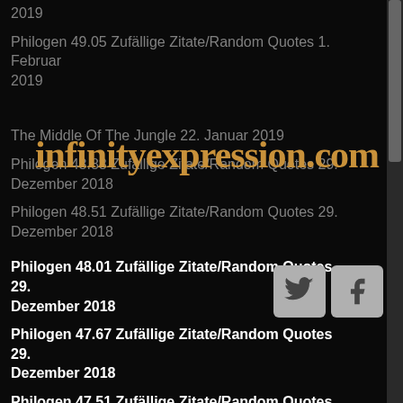2019
Philogen 49.05 Zufällige Zitate/Random Quotes 1. Februar 2019
infinityexpression.com (watermark overlay)
The Middle Of The Jungle 22. Januar 2019
Philogen 48.88 Zufällige Zitate/Random Quotes 29. Dezember 2018
Philogen 48.51 Zufällige Zitate/Random Quotes 29. Dezember 2018
Philogen 48.01 Zufällige Zitate/Random Quotes 29. Dezember 2018
Philogen 47.67 Zufällige Zitate/Random Quotes 29. Dezember 2018
Philogen 47.51 Zufällige Zitate/Random Quotes 28. Dezember 2018
Philogen 47.35 Zufällige Zitate/Random Quotes 28. Dezember 2018
Philogen 47.17 Zufällige Zitate/Random Quotes 28. Dezember 2018